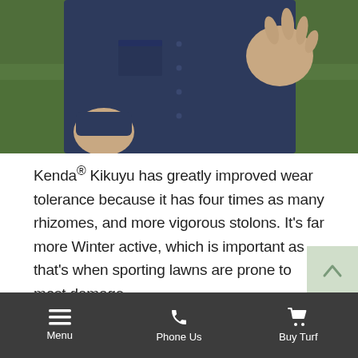[Figure (photo): A man in a navy blue short-sleeve button-up shirt standing on green grass, gesturing with his hands. Only his torso and hands are visible.]
Kenda® Kikuyu has greatly improved wear tolerance because it has four times as many rhizomes, and more vigorous stolons. It's far more Winter active, which is important as that's when sporting lawns are prone to most damage.
Ovals and Parks
Menu  Phone Us  Buy Turf